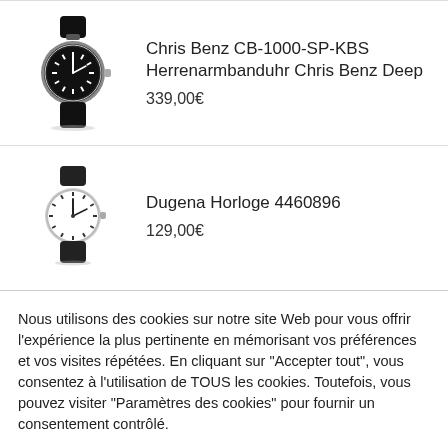[Figure (photo): Black diving watch with rubber strap - Chris Benz CB-1000-SP-KBS]
Chris Benz CB-1000-SP-KBS Herrenarmbanduhr Chris Benz Deep
339,00€
[Figure (photo): White-faced watch with dark leather strap - Dugena Horloge 4460896]
Dugena Horloge 4460896
129,00€
Nous utilisons des cookies sur notre site Web pour vous offrir l'expérience la plus pertinente en mémorisant vos préférences et vos visites répétées. En cliquant sur "Accepter tout", vous consentez à l'utilisation de TOUS les cookies. Toutefois, vous pouvez visiter "Paramètres des cookies" pour fournir un consentement contrôlé.
Réglages Cookies
Accepter tout